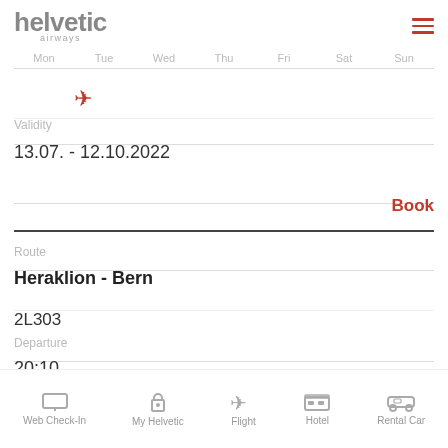[Figure (logo): Helvetic Airways logo in grey with 'airways' subtitle]
Mon  Tue  Wed  Thu  Fri  Sat  Sun
[Figure (other): Red airplane icon indicating flight on Wednesday]
Validity
13.07. - 12.10.2022
Book
Route
Heraklion - Bern
2L303
Departure
20:10
[Figure (other): Bottom navigation bar with icons: Web Check-In, My Helvetic, Flight, Hotel, Rental Car]